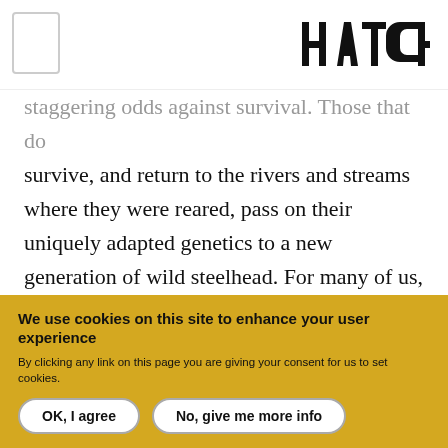HATCH
staggering odds against survival. Those that do survive, and return to the rivers and streams where they were reared, pass on their uniquely adapted genetics to a new generation of wild steelhead. For many of us, it stands to reason that mixing in millions of hatchery steelhead — which are bred and raised in concrete tanks where pellet-feeding and crowded conditions are the order of the day — with our wild
We use cookies on this site to enhance your user experience
By clicking any link on this page you are giving your consent for us to set cookies.
OK, I agree
No, give me more info